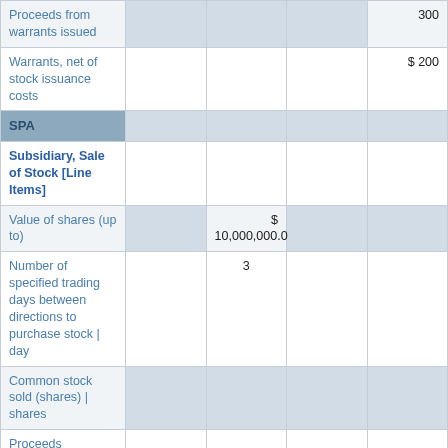|  |  |  |  |  |
| --- | --- | --- | --- | --- |
| Proceeds from warrants issued |  |  |  | 300 |
| Warrants, net of stock issuance costs |  |  |  | $ 200 |
| SPA |  |  |  |  |
| Subsidiary, Sale of Stock [Line Items] |  |  |  |  |
| Value of shares (up to) |  | $ 10,000,000.0 |  |  |
| Number of specified trading days between directions to purchase stock | day |  | 3 |  |  |
| Common stock sold (shares) | shares |  |  |  |  |
| Proceeds recognized |  |  |  |  |